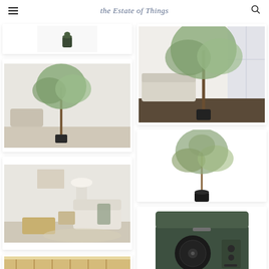the Estate of Things
[Figure (photo): Small dark green cylindrical planter/pot on white background]
[Figure (photo): Faux olive tree in a bright white living room with a sofa and large windows]
[Figure (photo): Faux olive tree in a white room setting with a ladder-back chair]
[Figure (photo): Faux olive tree on white background product shot]
[Figure (photo): Living room vignette with white armchair, woven bench, table lamp, and side table]
[Figure (photo): Dark green vintage-style portable record player/turntable in open suitcase case]
[Figure (photo): Partial view of woven/rattan furniture piece at bottom left]